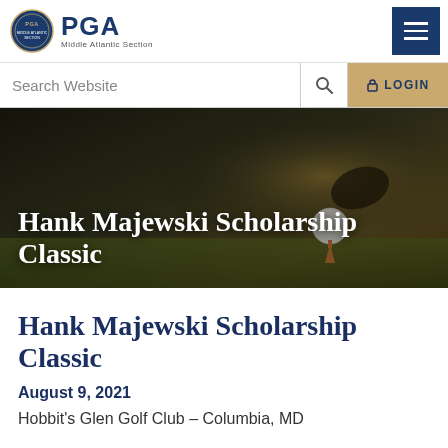PGA Middle Atlantic Section
Search Website
LOGIN
[Figure (photo): Golf hero banner showing a golf ball being placed on a tee, warm golden lighting, dark background]
Hank Majewski Scholarship Classic
August 9, 2021
Hobbit's Glen Golf Club – Columbia, MD